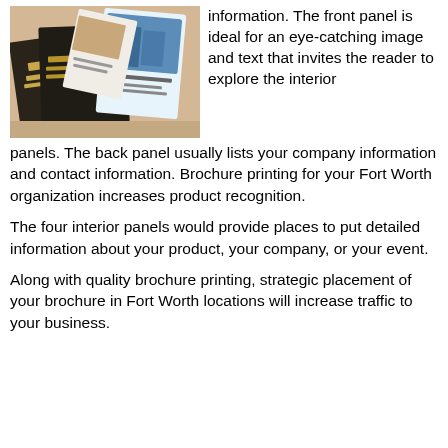[Figure (photo): Photo of printed brochures and marketing materials spread on a table, including dark-colored brochures with gold text and lighter colored booklets.]
information. The front panel is ideal for an eye-catching image and text that invites the reader to explore the interior panels. The back panel usually lists your company information and contact information. Brochure printing for your Fort Worth organization increases product recognition.
The four interior panels would provide places to put detailed information about your product, your company, or your event.
Along with quality brochure printing, strategic placement of your brochure in Fort Worth locations will increase traffic to your business.